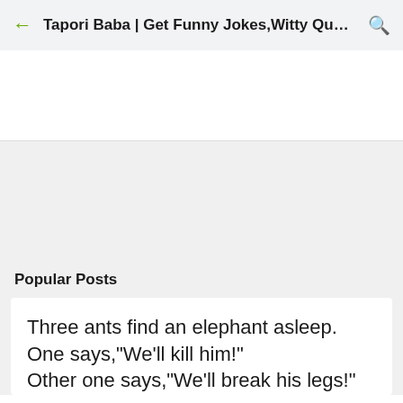Tapori Baba | Get Funny Jokes,Witty Quot...
Popular Posts
Three ants find an elephant asleep. One says,"We'll kill him!" Other one says,"We'll break his legs!"